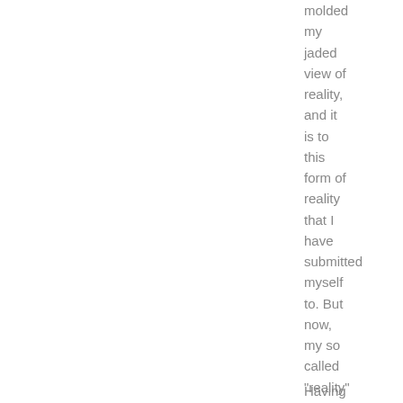molded my jaded view of reality, and it is to this form of reality that I have submitted myself to. But now, my so called "reality" has been shaken.
Having